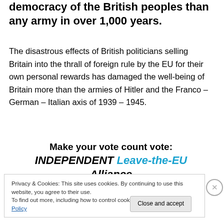democracy of the British peoples than any army in over 1,000 years.
The disastrous effects of British politicians selling Britain into the thrall of foreign rule by the EU for their own personal rewards has damaged the well-being of Britain more than the armies of Hitler and the Franco – German – Italian axis of 1939 – 1945.
Make your vote count vote: INDEPENDENT Leave-the-EU Alliance
Privacy & Cookies: This site uses cookies. By continuing to use this website, you agree to their use.
To find out more, including how to control cookies, see here: Cookie Policy
Close and accept